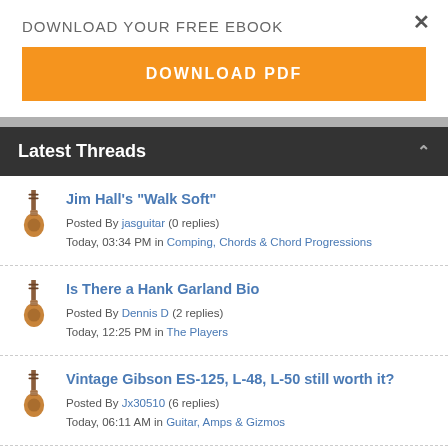DOWNLOAD YOUR FREE EBOOK
DOWNLOAD PDF
Latest Threads
Jim Hall's "Walk Soft" — Posted By jasguitar (0 replies) Today, 03:34 PM in Comping, Chords & Chord Progressions
Is There a Hank Garland Bio — Posted By Dennis D (2 replies) Today, 12:25 PM in The Players
Vintage Gibson ES-125, L-48, L-50 still worth it? — Posted By Jx30510 (6 replies) Today, 06:11 AM in Guitar, Amps & Gizmos